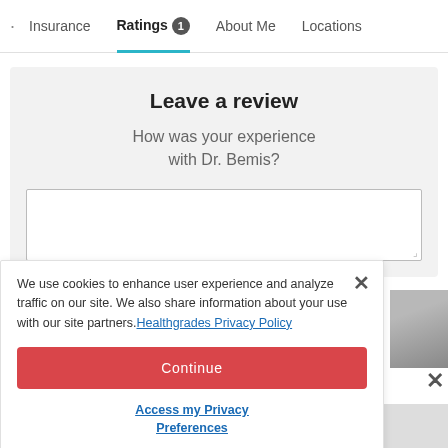· Insurance  Ratings 1  About Me  Locations
Leave a review
How was your experience with Dr. Bemis?
We use cookies to enhance user experience and analyze traffic on our site. We also share information about your use with our site partners. Healthgrades Privacy Policy
Continue
Access my Privacy Preferences